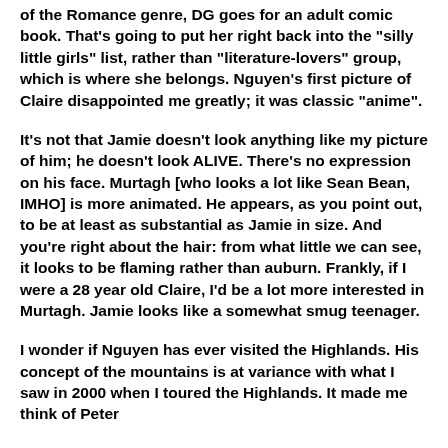of the Romance genre, DG goes for an adult comic book. That's going to put her right back into the "silly little girls" list, rather than "literature-lovers" group, which is where she belongs. Nguyen's first picture of Claire disappointed me greatly; it was classic "anime".
It's not that Jamie doesn't look anything like my picture of him; he doesn't look ALIVE. There's no expression on his face. Murtagh [who looks a lot like Sean Bean, IMHO] is more animated. He appears, as you point out, to be at least as substantial as Jamie in size. And you're right about the hair: from what little we can see, it looks to be flaming rather than auburn. Frankly, if I were a 28 year old Claire, I'd be a lot more interested in Murtagh. Jamie looks like a somewhat smug teenager.
I wonder if Nguyen has ever visited the Highlands. His concept of the mountains is at variance with what I saw in 2000 when I toured the Highlands. It made me think of Peter